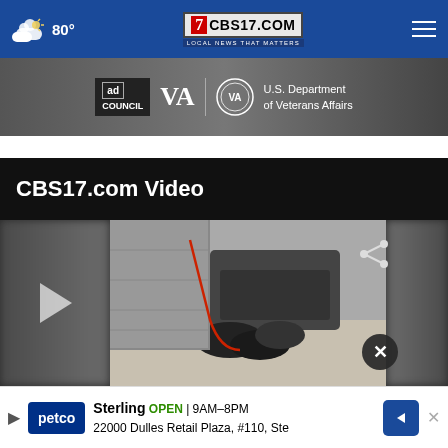CBS17.COM - LOCAL NEWS THAT MATTERS | Weather: 80°
[Figure (screenshot): Ad banner showing Ad Council, VA (U.S. Department of Veterans Affairs) logo and advertisement with people's feet visible in background]
CBS17.com Video
[Figure (screenshot): Video player showing news footage of people on the ground near a vehicle on a street, with play button, share icon, and close button visible]
[Figure (screenshot): Petco advertisement banner: Sterling OPEN 9AM–8PM, 22000 Dulles Retail Plaza, #110, Ste]